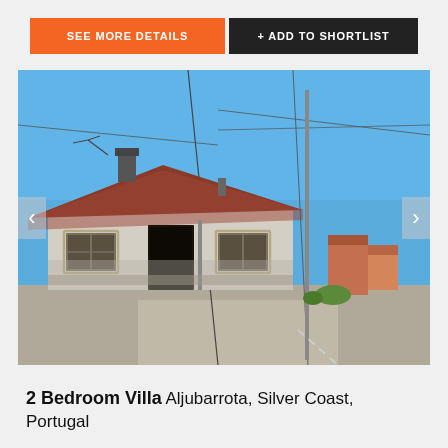SEE MORE DETAILS
+ ADD TO SHORTLIST
[Figure (photo): Exterior of a rustic single-storey Portuguese villa with terracotta tiled roof, white weathered walls, wooden door and windows, set on a quiet road under clear blue sky. Navigation arrows on left and right sides.]
2 Bedroom Villa Aljubarrota, Silver Coast, Portugal